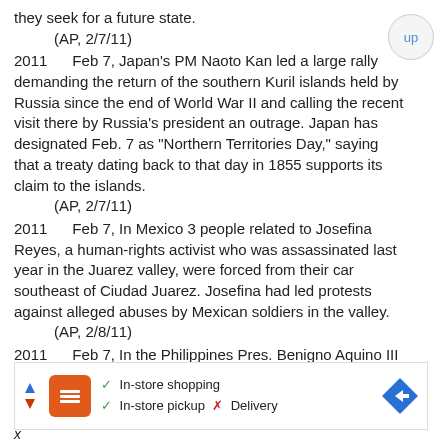they seek for a future state.
    (AP, 2/7/11)
2011    Feb 7, Japan's PM Naoto Kan led a large rally demanding the return of the southern Kuril islands held by Russia since the end of World War II and calling the recent visit there by Russia's president an outrage. Japan has designated Feb. 7 as "Northern Territories Day," saying that a treaty dating back to that day in 1855 supports its claim to the islands.
    (AP, 2/7/11)
2011    Feb 7, In Mexico 3 people related to Josefina Reyes, a human-rights activist who was assassinated last year in the Juarez valley, were forced from their car southeast of Ciudad Juarez. Josefina had led protests against alleged abuses by Mexican soldiers in the valley.
    (AP, 2/8/11)
2011    Feb 7, In the Philippines Pres. Benigno Aquino III signed a proclamation granting amnesty to rebel soldiers who participated in military uprisings in 2003 and 2006.
[Figure (infographic): Advertisement bar: Boost Mobile logo, checkmarks for In-store shopping and In-store pickup, X for Delivery, blue diamond arrow icon. Navigation arrows on left.]